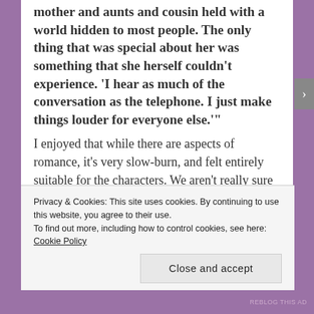mother and aunts and cousin held with a world hidden to most people. The only thing that was special about her was something that she herself couldn't experience. 'I hear as much of the conversation as the telephone. I just make things louder for everyone else.'
I enjoyed that while there are aspects of romance, it's very slow-burn, and felt entirely suitable for the characters. We aren't really sure of exactly what's going on, just like the characters aren't fully either. They're more devoted to their tasks, which makes sense. They are on a schedule, after all. I wish the
Privacy & Cookies: This site uses cookies. By continuing to use this website, you agree to their use.
To find out more, including how to control cookies, see here: Cookie Policy
Close and accept